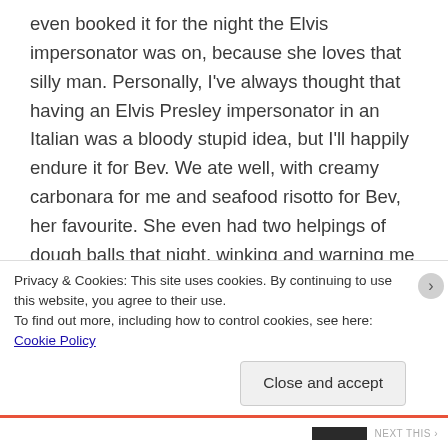even booked it for the night the Elvis impersonator was on, because she loves that silly man. Personally, I've always thought that having an Elvis Presley impersonator in an Italian was a bloody stupid idea, but I'll happily endure it for Bev. We ate well, with creamy carbonara for me and seafood risotto for Bev, her favourite. She even had two helpings of dough balls that night, winking and warning me not to tell a soul because of her diet. I told her that I wouldn't dream of telling on her, and that she could eat dough balls morning, noon and night for all I cared. She laughed, her beautiful mouth raising up
Privacy & Cookies: This site uses cookies. By continuing to use this website, you agree to their use.
To find out more, including how to control cookies, see here: Cookie Policy